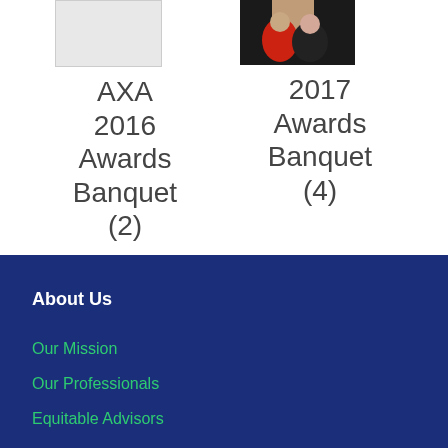[Figure (photo): Thumbnail placeholder image (light gray) for AXA 2016 Awards Banquet (2)]
AXA 2016 Awards Banquet (2)
[Figure (photo): Photo of two women at an event, one in red dress, one in black, for 2017 Awards Banquet (4)]
2017 Awards Banquet (4)
About Us
Our Mission
Our Professionals
Equitable Advisors